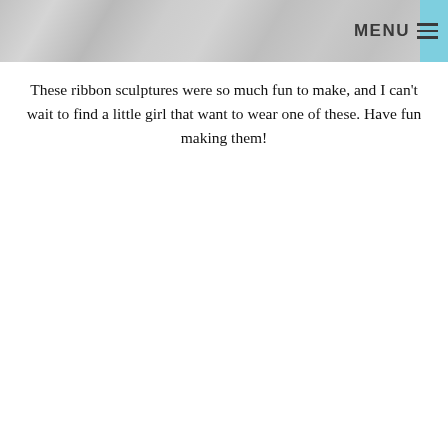MENU
[Figure (photo): A photo of a stone or marble textured surface, cropped at the top of the page.]
These ribbon sculptures were so much fun to make, and I can't wait to find a little girl that want to wear one of these. Have fun making them!